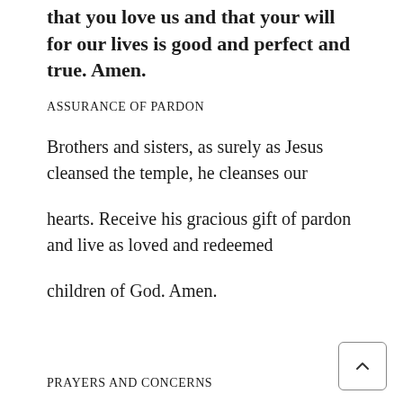that you love us and that your will for our lives is good and perfect and true. Amen.
ASSURANCE OF PARDON
Brothers and sisters, as surely as Jesus cleansed the temple, he cleanses our hearts. Receive his gracious gift of pardon and live as loved and redeemed children of God. Amen.
PRAYERS AND CONCERNS